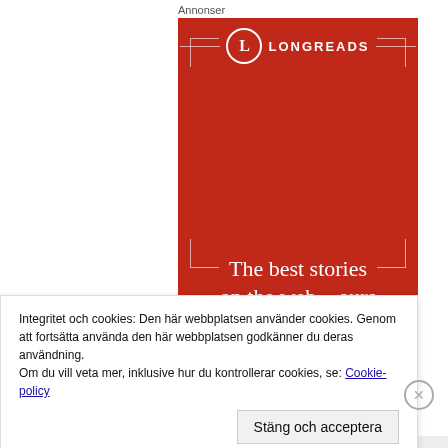Annonser
[Figure (illustration): Longreads advertisement on red background showing logo with circle L, corner bracket decorations, and tagline 'The best stories on the web – ours']
Integritet och cookies: Den här webbplatsen använder cookies. Genom att fortsätta använda den här webbplatsen godkänner du deras användning.
Om du vill veta mer, inklusive hur du kontrollerar cookies, se: Cookie-policy
Stäng och acceptera